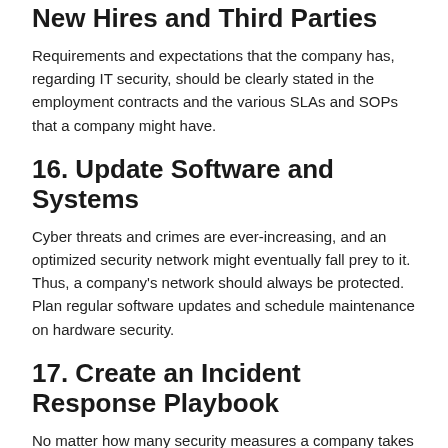New Hires and Third Parties
Requirements and expectations that the company has, regarding IT security, should be clearly stated in the employment contracts and the various SLAs and SOPs that a company might have.
16. Update Software and Systems
Cyber threats and crimes are ever-increasing, and an optimized security network might eventually fall prey to it. Thus, a company's network should always be protected. Plan regular software updates and schedule maintenance on hardware security.
17. Create an Incident Response Playbook
No matter how many security measures a company takes